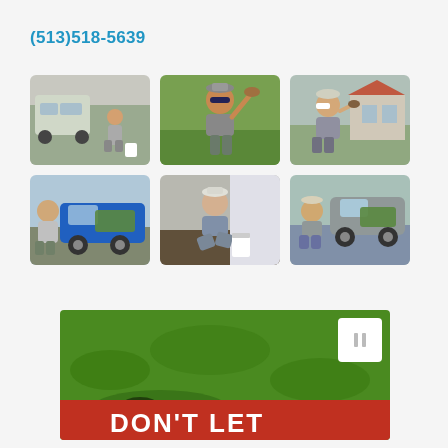(513)518-5639
[Figure (photo): Man crouching next to branded vehicle, pest control company logos visible]
[Figure (photo): Man holding up a mole/pest outdoors on green lawn]
[Figure (photo): Man standing in front of suburban house holding a pest]
[Figure (photo): Man standing next to blue branded pickup truck]
[Figure (photo): Man kneeling on ground working with garden bed and white bucket]
[Figure (photo): Man crouching next to branded car (pest control company)]
[Figure (photo): Green lawn banner with text DON'T LET, pest control advertisement]